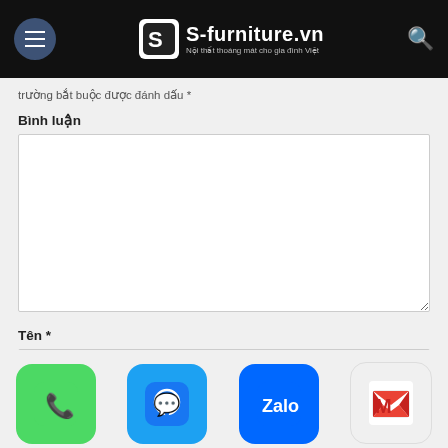S-furniture.vn – Nội thất thoáng mát cho gia đình Việt
trường bắt buộc được đánh dấu *
Bình luận
Tên *
Email *
[Figure (screenshot): Bottom app icon bar with Phone (green), Messenger (blue), Zalo (blue), Gmail (red/white) icons]